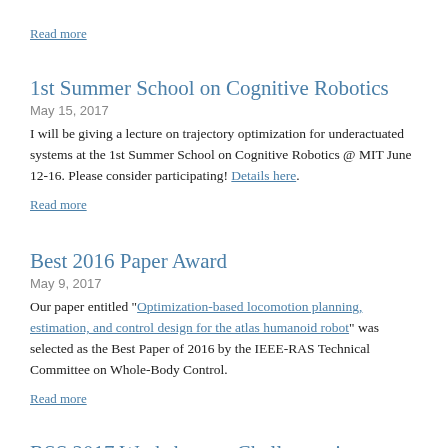Read more
1st Summer School on Cognitive Robotics
May 15, 2017
I will be giving a lecture on trajectory optimization for underactuated systems at the 1st Summer School on Cognitive Robotics @ MIT June 12-16. Please consider participating! Details here.
Read more
Best 2016 Paper Award
May 9, 2017
Our paper entitled "Optimization-based locomotion planning, estimation, and control design for the atlas humanoid robot" was selected as the Best Paper of 2016 by the IEEE-RAS Technical Committee on Whole-Body Control.
Read more
RSS 2017 Workshop on Challenges in Dynamic